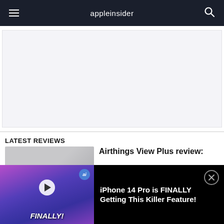appleinsider
[Figure (other): Advertisement placeholder area with light gray background]
LATEST REVIEWS
[Figure (photo): Thumbnail image for Airthings View Plus review article]
Airthings View Plus review:
[Figure (screenshot): Video thumbnail showing hand holding iPhone 14 Pro with purple background and FINALLY! text overlay, with ai badge]
iPhone 14 Pro is FINALLY Getting This Killer Feature!